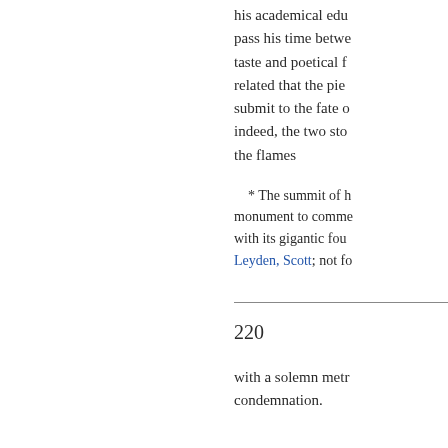his academical edu... pass his time betwe... taste and poetical f... related that the pie... submit to the fate o... indeed, the two sto... the flames
* The summit of h... monument to comme... with its gigantic fou... Leyden, Scott; not fo...
220
with a solemn metr... condemnation.